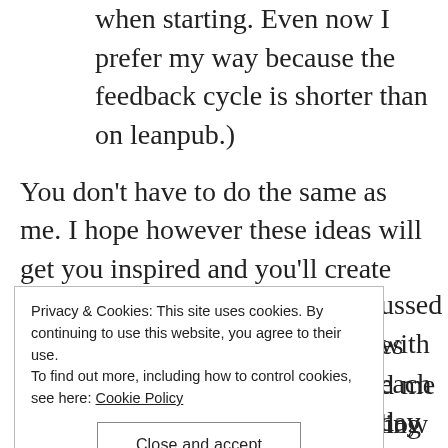when starting. Even now I prefer my way because the feedback cycle is shorter than on leanpub.)
You don’t have to do the same as me. I hope however these ideas will get you inspired and you’ll create your own favourable context.
Embrace Your Flaws
...ussed with ...es each day ...d me how ...ended up ...d to edit and index manually, the latter being the most
Privacy & Cookies: This site uses cookies. By continuing to use this website, you agree to their use.
To find out more, including how to control cookies, see here: Cookie Policy
Close and accept